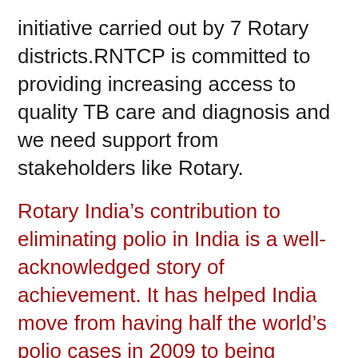initiative carried out by 7 Rotary districts.RNTCP is committed to providing increasing access to quality TB care and diagnosis and we need support from stakeholders like Rotary.
Rotary India's contribution to eliminating polio in India is a well-acknowledged story of achievement. It has helped India move from having half the world's polio cases in 2009 to being certified “polio free” in 2014. Now Rotary wants to bring the same energy and commitment to take on another big health challenge and help the Indian government take an aggressive step towards the elimination of TB in our country by 2025.